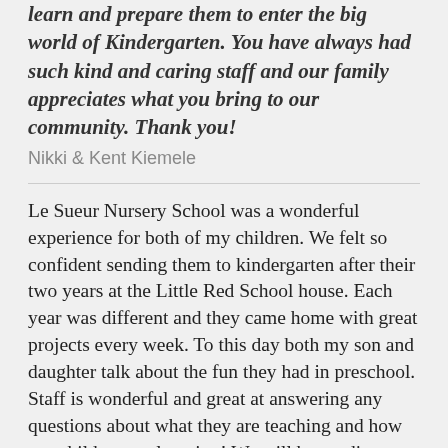learn and prepare them to enter the big world of Kindergarten.  You have always had such kind and caring staff and our family appreciates what you bring to our community.  Thank you!
Nikki & Kent Kiemele
Le Sueur Nursery School was a wonderful experience for both of my children.  We felt so confident sending them to kindergarten after their two years at the Little Red School house.  Each year was different and they came home with great projects every week.  To this day both my son and daughter talk about the fun they had in preschool.  Staff is wonderful and great at answering any questions about what they are teaching and how our children are learning!  We will be sending our youngest to LSNS when she is of age!
Alice Fahey